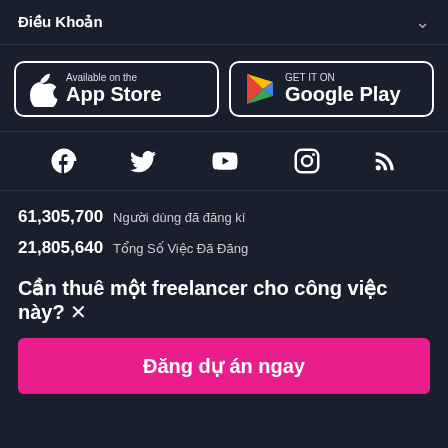Điều Khoản
[Figure (logo): App Store download button with Apple logo]
[Figure (logo): Google Play download button with Play Store logo]
[Figure (infographic): Social media icons row: Facebook, Twitter, YouTube, Instagram, RSS]
61,305,700  Người dùng đã đăng kí
21,805,640  Tổng Số Việc Đã Đăng
Cần thuê một freelancer cho công việc này? ×
Đăng dự án ngay